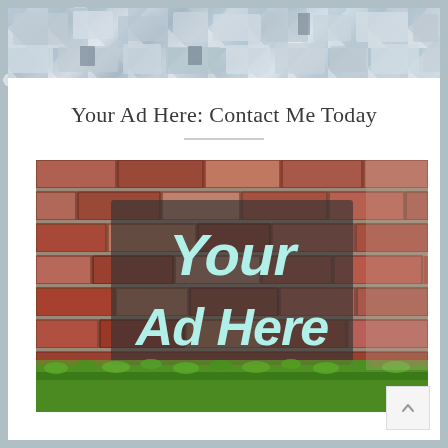Your Ad Here: Contact Me Today
[Figure (illustration): A brick wall with a semi-transparent dark overlay panel in the center displaying the text 'Your Ad Here' in large light blue/mint bold italic letters. Green grass is visible at the bottom of the wall.]